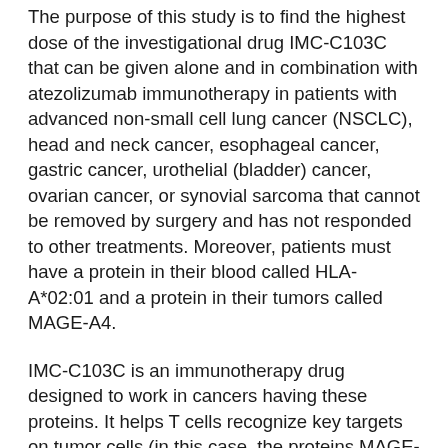The purpose of this study is to find the highest dose of the investigational drug IMC-C103C that can be given alone and in combination with atezolizumab immunotherapy in patients with advanced non-small cell lung cancer (NSCLC), head and neck cancer, esophageal cancer, gastric cancer, urothelial (bladder) cancer, ovarian cancer, or synovial sarcoma that cannot be removed by surgery and has not responded to other treatments. Moreover, patients must have a protein in their blood called HLA-A*02:01 and a protein in their tumors called MAGE-A4.
IMC-C103C is an immunotherapy drug designed to work in cancers having these proteins. It helps T cells recognize key targets on tumor cells (in this case, the proteins MAGE-A4 and HLA-A*02:01) and destroy them. Atezolizumab also has the ability to boost the power of the immune system to find and kill cancer cells. Patients will receive